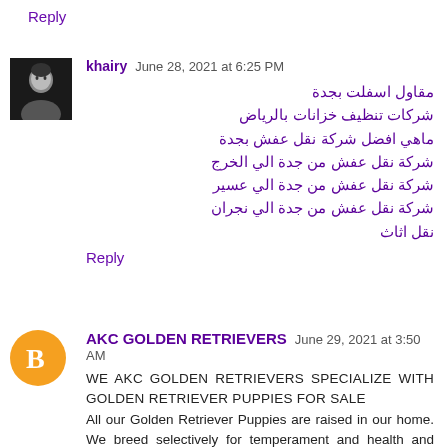Reply
[Figure (photo): Black and white profile photo of khairy]
khairy  June 28, 2021 at 6:25 PM
مقاول اسفلت بجدة
شركات تنظيف خزانات بالرياض
ماهي افضل شركة نقل عفش بجدة
شركة نقل عفش من جدة الي الخرج
شركة نقل عفش من جدة الي عسير
شركة نقل عفش من جدة الي نجران
نقل اثاث
Reply
[Figure (logo): Orange circle Blogger icon]
AKC GOLDEN RETRIEVERS  June 29, 2021 at 3:50 AM
WE AKC GOLDEN RETRIEVERS SPECIALIZE WITH GOLDEN RETRIEVER PUPPIES FOR SALE
All our Golden Retriever Puppies are raised in our home. We breed selectively for temperament and health and beauty. We offer golden retriever puppies for sale and